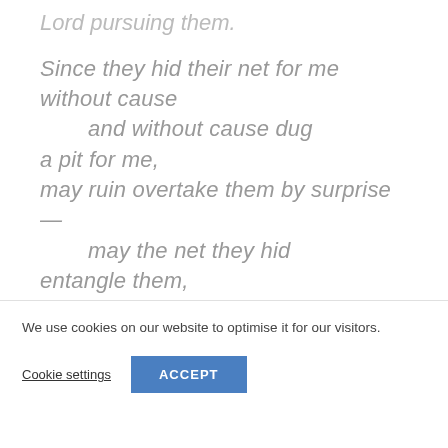Lord pursuing them.
Since they hid their net for me without cause
    and without cause dug a pit for me,
may ruin overtake them by surprise—
    may the net they hid entangle them,
We use cookies on our website to optimise it for our visitors.
Cookie settings
ACCEPT